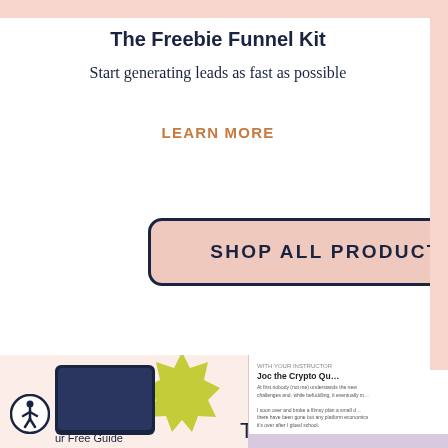The Freebie Funnel Kit
Start generating leads as fast as possible
LEARN MORE
Webina…
How to conne… a…
LEA…
SHOP ALL PRODUCTS
[Figure (screenshot): Bottom section showing a tablet device, an yellow-green starburst badge, 'THE' text, and a document preview with 'Joc the Crypto Qu…' title and body text. Also shows accessibility icon and 'Our Free Guide' label.]